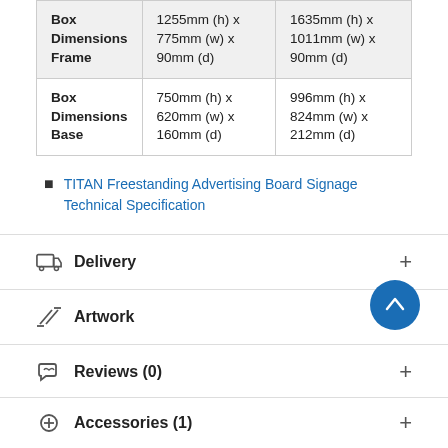|  | Column 2 | Column 3 |
| --- | --- | --- |
| Box Dimensions Frame | 1255mm (h) x 775mm (w) x 90mm (d) | 1635mm (h) x 1011mm (w) x 90mm (d) |
| Box Dimensions Base | 750mm (h) x 620mm (w) x 160mm (d) | 996mm (h) x 824mm (w) x 212mm (d) |
TITAN Freestanding Advertising Board Signage Technical Specification
Delivery
Artwork
Reviews (0)
Accessories (1)